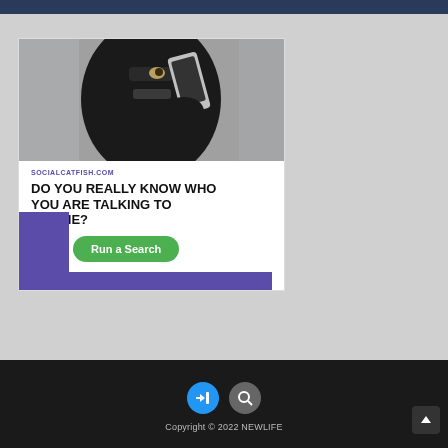[Figure (advertisement): Social Catfish advertisement showing a masked figure in black balaclava holding a phone, with text 'DO YOU REALLY KNOW WHO YOU ARE TALKING TO ONLINE?' and a green 'Run a Search' button]
Copyright © 2022 NEWLIFE